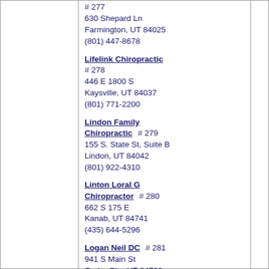# 277
630 Shepard Ln
Farmington, UT 84025
(801) 447-8678
Lifelink Chiropractic # 278
446 E 1800 S
Kaysville, UT 84037
(801) 771-2200
Lindon Family Chiropractic # 279
155 S. State St, Suite B
Lindon, UT 84042
(801) 922-4310
Linton Loral G Chiropractor # 280
662 S 175 E
Kanab, UT 84741
(435) 644-5296
Logan Neil DC # 281
941 S Main St
Cedar City, UT 84720
(435) 590-0797
Lone Star Chiropractic Center # 282